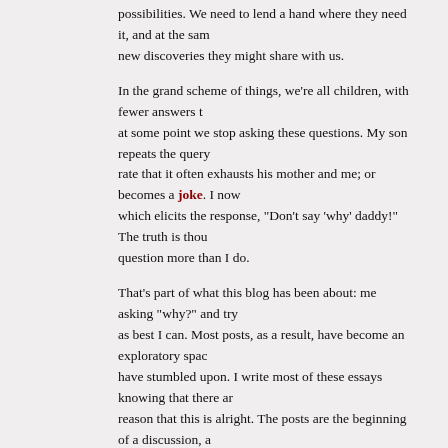possibilities. We need to lend a hand where they need it, and at the same time embrace the new discoveries they might share with us.
In the grand scheme of things, we're all children, with fewer answers than we think, and at some point we stop asking these questions. My son repeats the query 'why?' at such a rate that it often exhausts his mother and me; or becomes a joke. I now say 'why?' a lot which elicits the response, "Don't say 'why' daddy!" The truth is though, he doesn't question more than I do.
That's part of what this blog has been about: me asking "why?" and trying to answer it as best I can. Most posts, as a result, have become an exploratory space for ideas that I have stumbled upon. I write most of these essays knowing that there are no perfect answers, reason that this is alright. The posts are the beginning of a discussion, and when you participate and share your insights bring it to life.
Thank you for that! I look forward to another hundred of these!
Follow @karj to hear about these posts first.
3 people like this. Sign Up to see what your friends like.